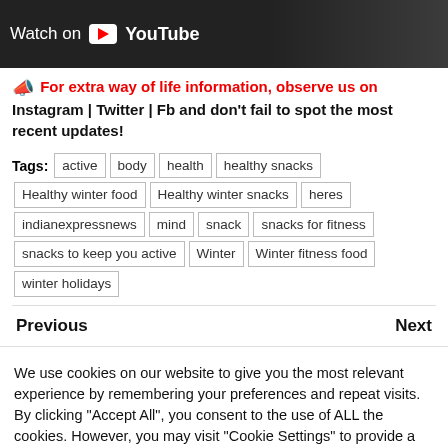[Figure (screenshot): YouTube 'Watch on YouTube' banner with dark background]
📣 For extra way of life information, observe us on Instagram | Twitter | Fb and don't fail to spot the most recent updates!
Tags: active | body | health | healthy snacks | Healthy winter food | Healthy winter snacks | heres | indianexpressnews | mind | snack | snacks for fitness | snacks to keep you active | Winter | Winter fitness food | winter holidays
Previous   Next
We use cookies on our website to give you the most relevant experience by remembering your preferences and repeat visits. By clicking "Accept All", you consent to the use of ALL the cookies. However, you may visit "Cookie Settings" to provide a controlled consent.